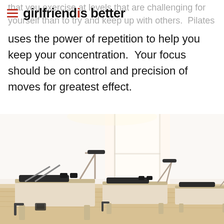girlfriend is better
that you exercise at levels that are challenging for yourself than to try and keep up with others.  Pilates uses the power of repetition to help you keep your concentration.  Your focus should be on control and precision of moves for greatest effect.
[Figure (photo): Pilates studio with multiple wooden reformer machines lined up in a bright, minimalist room with white walls and natural light.]